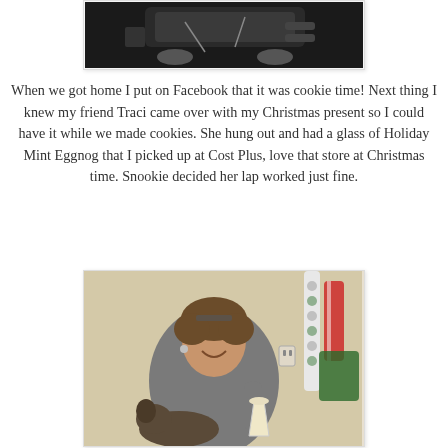[Figure (photo): Top portion of a photo showing what appears to be the interior of a car or electronic device with cables and controls visible against a dark background]
When we got home I put on Facebook that it was cookie time! Next thing I knew my friend Traci came over with my Christmas present so I could have it while we made cookies. She hung out and had a glass of Holiday Mint Eggnog that I picked up at Cost Plus, love that store at Christmas time. Snookie decided her lap worked just fine.
[Figure (photo): A smiling woman with short brown hair sitting at a table holding a glass of eggnog, with a dog on her lap and Christmas decorations visible in the background]